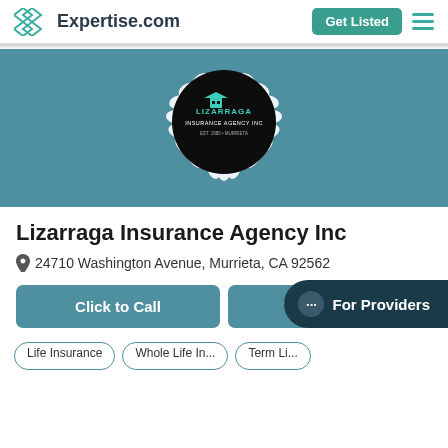Expertise.com | Get Listed
[Figure (logo): Lizarraga Insurance Agency Inc logo — black circle with white laurel wreath and teal/white company logo text, on teal-blue background banner]
Lizarraga Insurance Agency Inc
24710 Washington Avenue, Murrieta, CA 92562
Click to Call | Visit Website
For Providers
Life Insurance
Whole Life In...
Term Li...